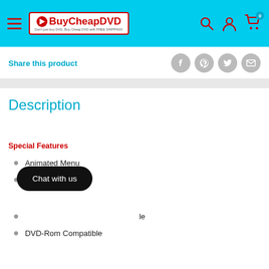BuyCheapDVD header with navigation
Share this product
Description
Special Features
Animated Menu
Chat with us (overlay button visible)
DVD-Rom Compatible